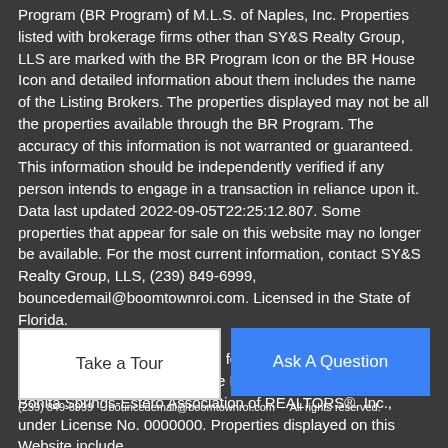Program (BR Program) of M.L.S. of Naples, Inc. Properties listed with brokerage firms other than SY&S Realty Group, LLS are marked with the BR Program Icon or the BR House Icon and detailed information about them includes the name of the Listing Brokers. The properties displayed may not be all the properties available through the BR Program. The accuracy of this information is not warranted or guaranteed. This information should be independently verified if any person intends to engage in a transaction in reliance upon it. Data last updated 2022-09-05T22:25:12.807. Some properties that appear for sale on this website may no longer be available. For the most current information, contact SY&S Realty Group, LLS, (239) 849-6999, bouncedemail@boomtownroi.com. Licensed in the State of Florida.
The data relating to real estate for sale displayed on this Website comes in part from the Multiple Listing Service of the Bonita Springs-Estero Association of REALTORS®, Inc., under License No. 0000000. Properties displayed on this Website include...
Take a Tour
Ask A Question